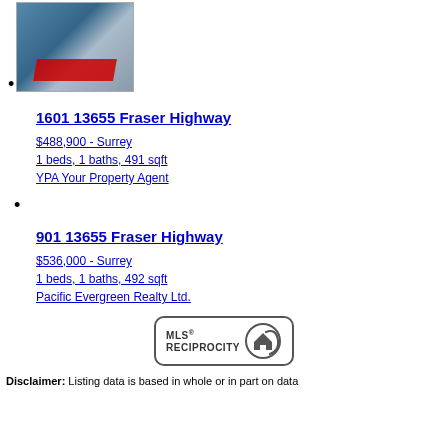[Figure (photo): Aerial/exterior photo of a tall modern condo tower with red architectural element]
1601 13655 Fraser Highway
$488,900 - Surrey
1 beds, 1 baths, 491 sqft
YPA Your Property Agent
901 13655 Fraser Highway
$536,000 - Surrey
1 beds, 1 baths, 492 sqft
Pacific Evergreen Realty Ltd.
[Figure (logo): MLS Reciprocity logo — circular house icon with MLS RECIPROCITY text]
Disclaimer: Listing data is based in whole or in part on data